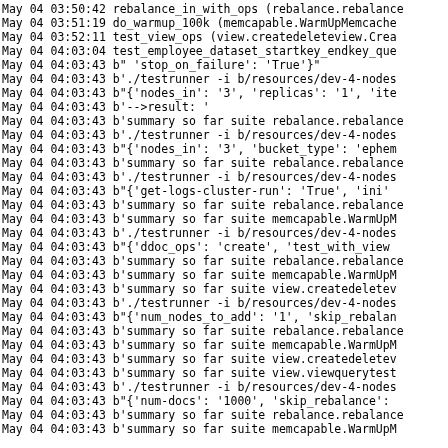May 04 03:50:42 rebalance_in_with_ops (rebalance.rebalance
May 04 03:51:19 do_warmup_100k (memcapable.WarmUpMemcache
May 04 03:52:11 test_view_ops (view.createdeleteview.Crea
May 04 04:03:04 test_employee_dataset_startkey_endkey_que
May 04 04:03:43 b" 'stop_on_failure': 'True'}"
May 04 04:03:43 b'./testrunner -i b/resources/dev-4-nodes
May 04 04:03:43 b"{'nodes_in': '3', 'replicas': '1', 'ite
May 04 04:03:43 b'-->result: '
May 04 04:03:43 b'summary so far suite rebalance.rebalance
May 04 04:03:43 b'./testrunner -i b/resources/dev-4-nodes
May 04 04:03:43 b"{'nodes_in': '3', 'bucket_type': 'ephem
May 04 04:03:43 b'summary so far suite rebalance.rebalance
May 04 04:03:43 b'./testrunner -i b/resources/dev-4-nodes
May 04 04:03:43 b"{'get-logs-cluster-run': 'True', 'ini'
May 04 04:03:43 b'summary so far suite rebalance.rebalance
May 04 04:03:43 b'summary so far suite memcapable.WarmUpM
May 04 04:03:43 b'./testrunner -i b/resources/dev-4-nodes
May 04 04:03:43 b"{'ddoc_ops': 'create', 'test_with_view
May 04 04:03:43 b'summary so far suite rebalance.rebalance
May 04 04:03:43 b'summary so far suite memcapable.WarmUpM
May 04 04:03:43 b'summary so far suite view.createdeletev
May 04 04:03:43 b'./testrunner -i b/resources/dev-4-nodes
May 04 04:03:43 b"{'num_nodes_to_add': '1', 'skip_rebalan
May 04 04:03:43 b'summary so far suite rebalance.rebalance
May 04 04:03:43 b'summary so far suite memcapable.WarmUpM
May 04 04:03:43 b'summary so far suite view.createdeletev
May 04 04:03:43 b'summary so far suite view.viewquerytest
May 04 04:03:43 b'./testrunner -i b/resources/dev-4-nodes
May 04 04:03:43 b"{'num-docs': '1000', 'skip_rebalance':
May 04 04:03:43 b'summary so far suite rebalance.rebalance
May 04 04:03:43 b'summary so far suite memcapable.WarmUpM